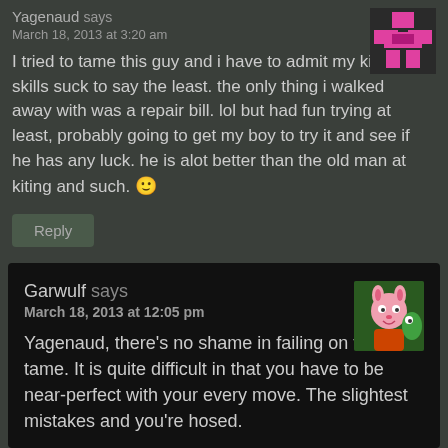Yagenaud says
March 18, 2013 at 3:20 am
I tried to tame this guy and i have to admit my kiting skills suck to say the least. the only thing i walked away with was a repair bill. lol but had fun trying at least, probably going to get my boy to try it and see if he has any luck. he is alot better than the old man at kiting and such. 🙂
Reply
Garwulf says
March 18, 2013 at 12:05 pm
Yagenaud, there's no shame in failing on this tame. It is quite difficult in that you have to be near-perfect with your every move. The slightest mistakes and you're hosed.